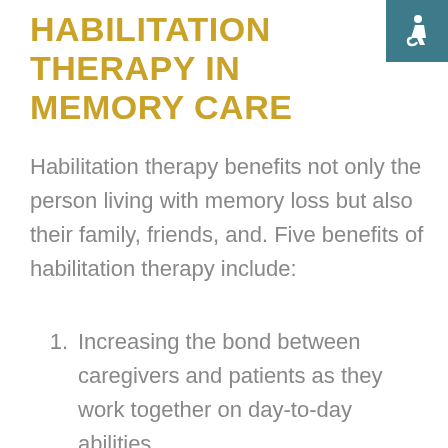HABILITATION THERAPY IN MEMORY CARE
Habilitation therapy benefits not only the person living with memory loss but also their family, friends, and. Five benefits of habilitation therapy include:
Increasing the bond between caregivers and patients as they work together on day-to-day abilities
Emotional support where the person in memory care feels